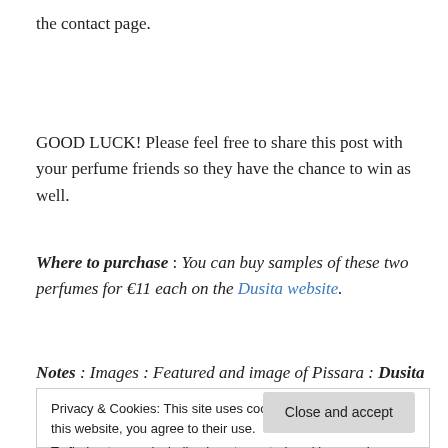the contact page.
GOOD LUCK! Please feel free to share this post with your perfume friends so they have the chance to win as well.
Where to purchase : You can buy samples of these two perfumes for €11 each on the Dusita website.
Notes : Images : Featured and image of Pissara : Dusita :
Privacy & Cookies: This site uses cookies. By continuing to use this website, you agree to their use.
To find out more, including how to control cookies, see here: Cookie Policy
own